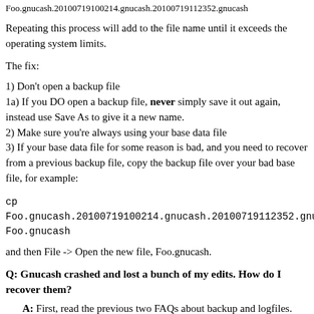Foo.gnucash.20100719100214.gnucash.20100719112352.gnucash
Repeating this process will add to the file name until it exceeds the operating system limits.
The fix:
1) Don't open a backup file
1a) If you DO open a backup file, never simply save it out again, instead use Save As to give it a new name.
2) Make sure you're always using your base data file
3) If your base data file for some reason is bad, and you need to recover from a previous backup file, copy the backup file over your bad base file, for example:
cp
Foo.gnucash.20100719100214.gnucash.20100719112352.gnucash
Foo.gnucash
and then File -> Open the new file, Foo.gnucash.
Q: Gnucash crashed and lost a bunch of my edits. How do I recover them?
A: First, read the previous two FAQs about backup and logfiles.